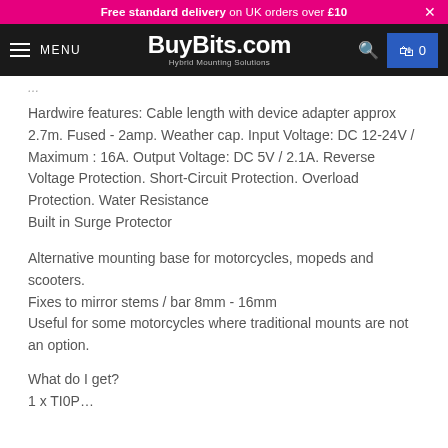Free standard delivery on UK orders over £10  ×
MENU  BuyBits.com Hybrid Mounting Solutions  🔍  🛒 0
Hardwire features: Cable length with device adapter approx 2.7m. Fused - 2amp. Weather cap. Input Voltage: DC 12-24V / Maximum : 16A. Output Voltage: DC 5V / 2.1A. Reverse Voltage Protection. Short-Circuit Protection. Overload Protection. Water Resistance
Built in Surge Protector
Alternative mounting base for motorcycles, mopeds and scooters.
Fixes to mirror stems / bar 8mm - 16mm
Useful for some motorcycles where traditional mounts are not an option.
What do I get?
1 x TI0P…